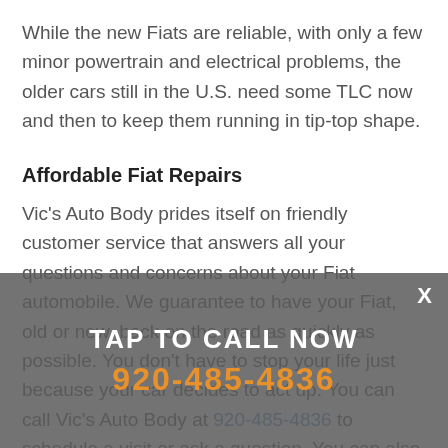While the new Fiats are reliable, with only a few minor powertrain and electrical problems, the older cars still in the U.S. need some TLC now and then to keep them running in tip-top shape.
Affordable Fiat Repairs
Vic's Auto Body prides itself on friendly customer service that answers all your questions and concerns about your Fiat automobile. We guarantee to have your Fiat, old or new, back on the road as quickly as possible. You don't have to stop your life just because your car decides to act up. You can call Vic's Auto Body at 920-485-4836 to schedule a visit or ask a question. You can also stop by our
[Figure (other): Call-to-action overlay banner with 'TAP TO CALL NOW' in white text and phone number '920-485-4836' in orange, on a semi-transparent dark grey background, with an X close button.]